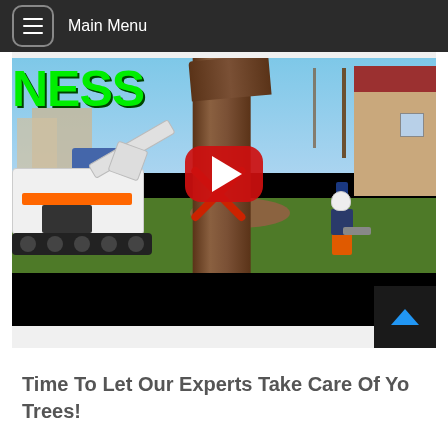Main Menu
[Figure (screenshot): YouTube video thumbnail showing tree removal service: a bobcat machine with attachment gripping a large tree trunk marked with a red X, a worker in orange safety gear and white helmet using a chainsaw, a suburban house in the background with bare trees and blue sky. Green 'NESS' text visible top left of thumbnail.]
Time To Let Our Experts Take Care Of Your Trees!